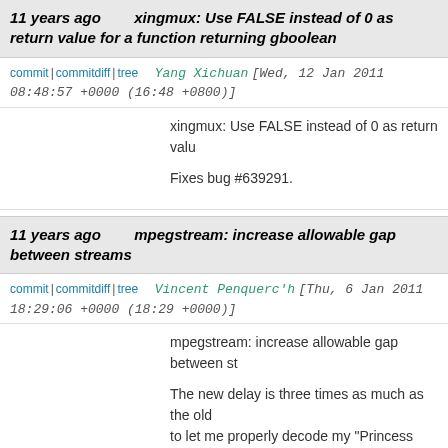11 years ago   xingmux: Use FALSE instead of 0 as return value for a function returning gboolean
commit | commitdiff | tree   Yang Xichuan [Wed, 12 Jan 2011 08:48:57 +0000 (16:48 +0800)]
xingmux: Use FALSE instead of 0 as return valu

Fixes bug #639291.
11 years ago   mpegstream: increase allowable gap between streams
commit | commitdiff | tree   Vincent Penquerc'h [Thu, 6 Jan 2011 18:29:06 +0000 (18:29 +0000)]
mpegstream: increase allowable gap between st

The new delay is three times as much as the old to let me properly decode my "Princess Monono was chocking before at 5:11.
While there, merge the constants used in two pla

https://bugzilla.gnome.org/show_bug.cgi?id=539708